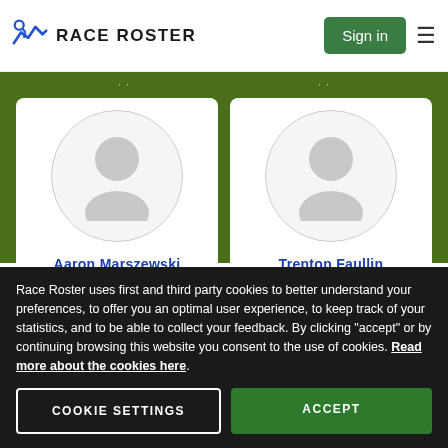RACE ROSTER | Sign in
[Figure (photo): Avatar placeholder image for Aaron Marszewski - grey silhouette person icon in a circle]
Aaron Marszewski
Raised: $188.93
[Figure (photo): Avatar placeholder image for Trenton Faullin - grey silhouette person icon in a circle]
Trenton Faullin
Raised: $107.35
Race Roster uses first and third party cookies to better understand your preferences, to offer you an optimal user experience, to keep track of your statistics, and to be able to collect your feedback. By clicking "accept" or by continuing browsing this website you consent to the use of cookies. Read more about the cookies here.
COOKIE SETTINGS
ACCEPT